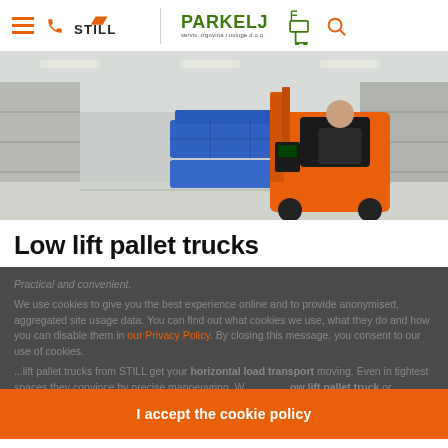STILL | PARKELJ servis, trgovina i usluge d.o.o.
[Figure (photo): Warehouse interior with a worker riding an orange STILL low lift pallet truck carrying blue plastic crates along a wide aisle with shelving units in background.]
Low lift pallet trucks
Practical and convenient.
We use cookies to give you the best experience online and to provide anonymised, aggregated site usage data. You can find out what cookies we use, what they do and how you can disable them in our Privacy Policy. By closing this message, you consent to our use of cookies.
...lift pallet trucks from STILL get your horizontal load transport moving. Even in tightest spaces they convince by precise manoeuvring. W... ow lift pallet truck or require... r long driving distances. STILL offers a perfect model for any application. To not only
I accept the cookie policy